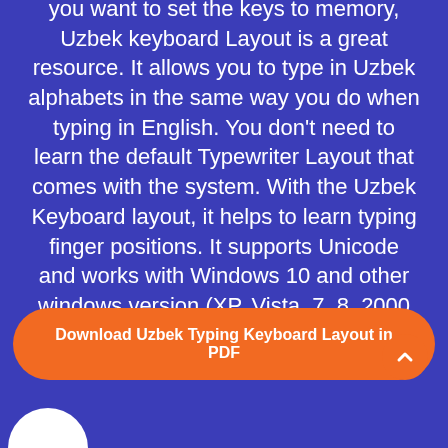you want to set the keys to memory, Uzbek keyboard Layout is a great resource. It allows you to type in Uzbek alphabets in the same way you do when typing in English. You don't need to learn the default Typewriter Layout that comes with the system. With the Uzbek Keyboard layout, it helps to learn typing finger positions. It supports Unicode and works with Windows 10 and other windows version (XP, Vista, 7, 8, 2000 Server Systems). This keyboard layout supports 32 and 64 64-bit systems.
Download Uzbek Typing Keyboard Layout in PDF